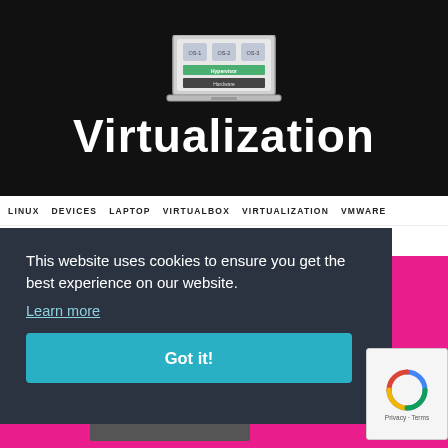[Figure (illustration): Dark background hero image showing a laptop diagram with virtualization layers (OS-1, OS-2, OS-3, Hypervisor, Hardware) and large white bold text 'Virtualization' below the diagram.]
LINUX  DEVICES  LAPTOP  VIRTUALBOX  VIRTUALIZATION  VMWARE
Best Laptops for Virtualization in 2023...
This website uses cookies to ensure you get the best experience on our website.
Learn more
Got it!
[Figure (other): reCAPTCHA badge showing circular arrow icon and 'Privacy · Terms' text]